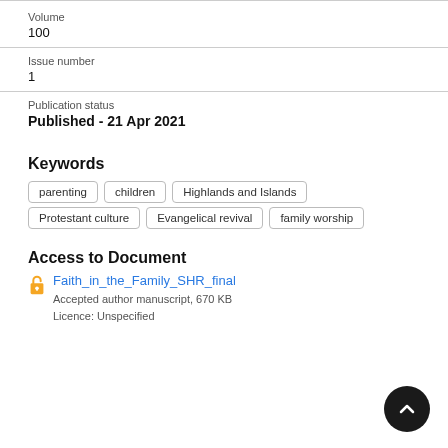Volume
100
Issue number
1
Publication status
Published - 21 Apr 2021
Keywords
parenting
children
Highlands and Islands
Protestant culture
Evangelical revival
family worship
Access to Document
Faith_in_the_Family_SHR_final
Accepted author manuscript, 670 KB
Licence: Unspecified